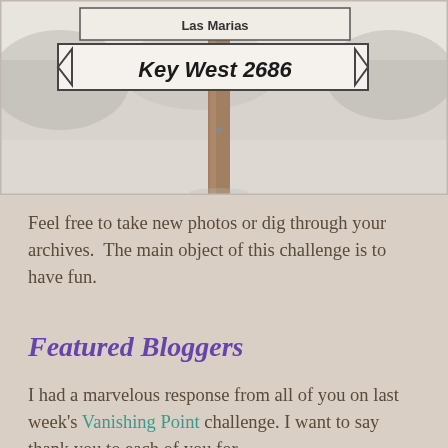[Figure (photo): Black and white photo of a wooden signpost with 'Key West 2686' sign, outdoor background with blurred trees and light sky]
Feel free to take new photos or dig through your archives.  The main object of this challenge is to have fun.
Featured Bloggers
I had a marvelous response from all of you on last week's Vanishing Point challenge. I want to say thank you to each of you for